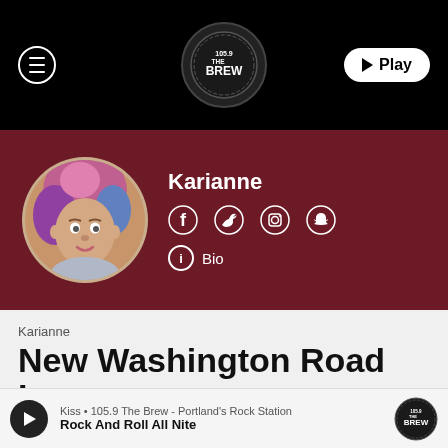[Figure (screenshot): Radio station website header navigation bar with hamburger menu button on left, 105.9 The Brew logo badge in center, and Play button on right, on black background]
[Figure (screenshot): Dark red profile section showing circular photo of Karianne (woman with colorful hair), her name in bold white text, social media icons (Facebook, Twitter, Instagram, Snapchat), and Bio link]
Karianne
New Washington Road Law
Kiss • 105.9 The Brew - Portland's Rock Station
Rock And Roll All Nite